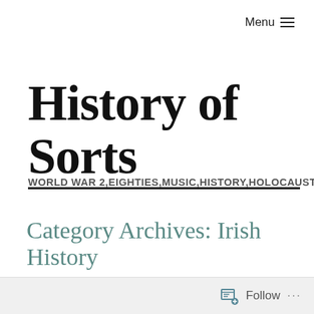Menu ≡
History of Sorts
WORLD WAR 2,EIGHTIES,MUSIC,HISTORY,HOLOCAUST
Category Archives: Irish History
Follow ...